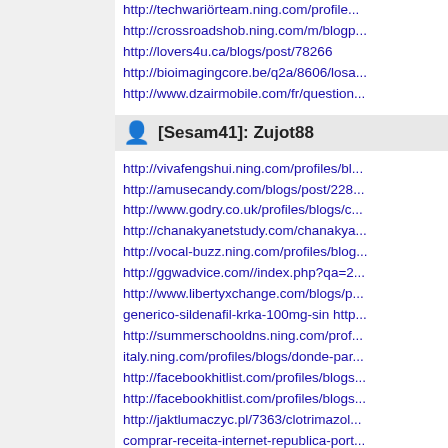http://techwariörteam.ning.com/profile...
http://crossroadshob.ning.com/m/blogp...
http://lovers4u.ca/blogs/post/78266
http://bioimagingcore.be/q2a/8606/losa...
http://www.dzairmobile.com/fr/question...
[Sesam41]: Zujot88
http://vivafengshui.ning.com/profiles/bl...
http://amusecandy.com/blogs/post/228...
http://www.godry.co.uk/profiles/blogs/c...
http://chanakyanetstudy.com/chanakya...
http://vocal-buzz.ning.com/profiles/blog...
http://ggwadvice.com//index.php?qa=2...
http://www.libertyxchange.com/blogs/p...
generico-sildenafil-krka-100mg-sin http...
http://summerschooldns.ning.com/prof...
italy.ning.com/profiles/blogs/donde-par...
http://facebookhitlist.com/profiles/blogs...
http://facebookhitlist.com/profiles/blogs...
http://jaktlumaczyc.pl/7363/clotrimazol...
comprar-receita-internet-republica-port...
http://webhiveteam.com/demo4_chame...
http://bicyclebuddy.org/blogs/962/3107...
http://stemcellnetwork.ning.com/profile...
http://www.myindiagate.com/communit...
achat-achat-de-avarts-320 http://the...